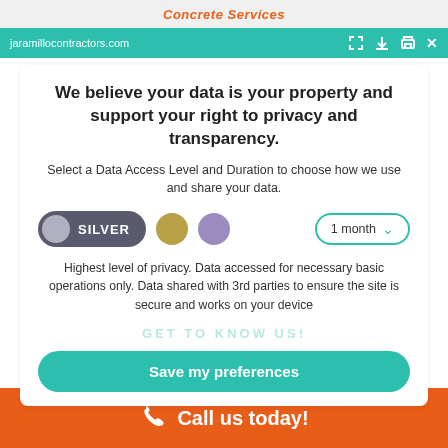Concrete Services
jaramillocontractors.com
We believe your data is your property and support your right to privacy and transparency.
Select a Data Access Level and Duration to choose how we use and share your data.
[Figure (infographic): Privacy level selector with SILVER toggle button (dark gray with gray circle), gold circle, purple circle, and '1 month' dropdown with teal border]
Highest level of privacy. Data accessed for necessary basic operations only. Data shared with 3rd parties to ensure the site is secure and works on your device
GET TO KNOW US!
Save my preferences
Call us today!